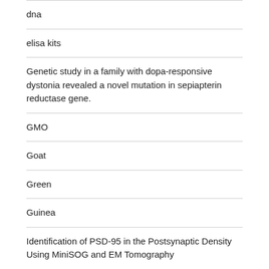dna
elisa kits
Genetic study in a family with dopa-responsive dystonia revealed a novel mutation in sepiapterin reductase gene.
GMO
Goat
Green
Guinea
Identification of PSD-95 in the Postsynaptic Density Using MiniSOG and EM Tomography